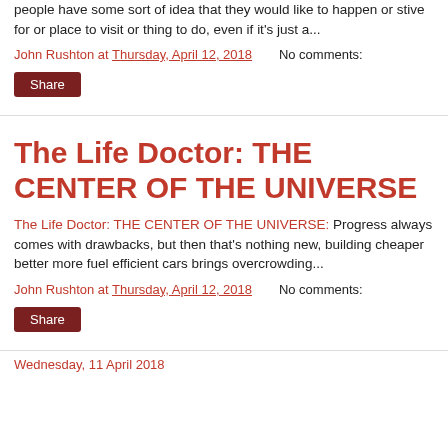people have some sort of idea that they would like to happen or stive for or place to visit or thing to do, even if it's just a...
John Rushton at Thursday, April 12, 2018   No comments:
Share
The Life Doctor: THE CENTER OF THE UNIVERSE
The Life Doctor: THE CENTER OF THE UNIVERSE: Progress always comes with drawbacks, but then that's nothing new, building cheaper better more fuel efficient cars brings overcrowding...
John Rushton at Thursday, April 12, 2018   No comments:
Share
Wednesday, 11 April 2018